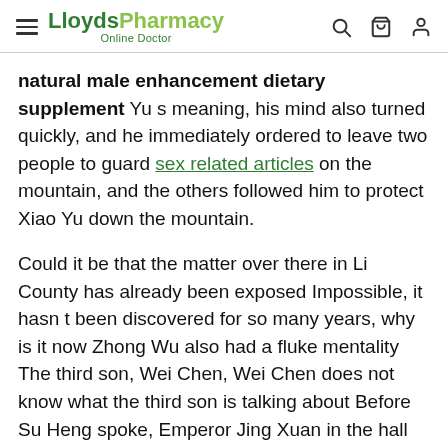LloydsPharmacy Online Doctor
natural male enhancement dietary supplement Yu s meaning, his mind also turned quickly, and he immediately ordered to leave two people to guard sex related articles on the mountain, and the others followed him to protect Xiao Yu down the mountain.
Could it be that the matter over there in Li County has already been exposed Impossible, it hasn t been discovered for so many years, why is it now Zhong Wu also had a fluke mentality The third son, Wei Chen, Wei Chen does not know what the third son is talking about Before Su Heng spoke, Emperor Jing Xuan in the hall opened his mouth first As expected, I was trained by Da Yue.
At this moment, Ou Ding stepped forward and said